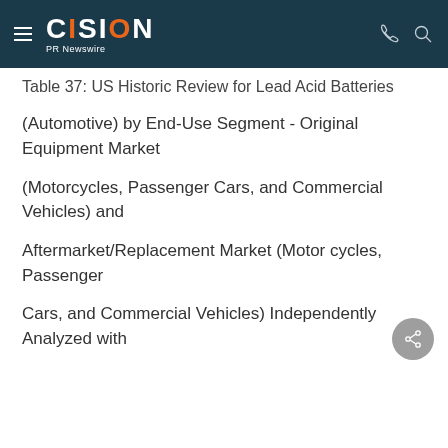CISION PR Newswire
Table 37: US Historic Review for Lead Acid Batteries
(Automotive) by End-Use Segment - Original Equipment Market
(Motorcycles, Passenger Cars, and Commercial Vehicles) and
Aftermarket/Replacement Market (Motor cycles, Passenger
Cars, and Commercial Vehicles) Independently Analyzed with